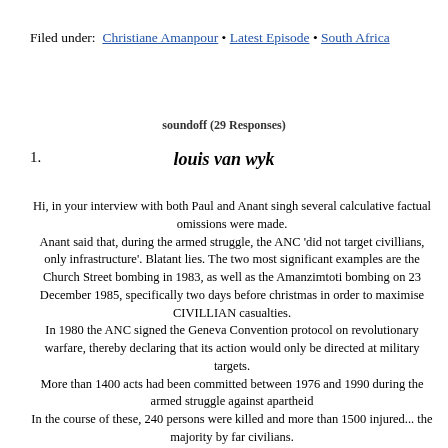Filed under:  Christiane Amanpour • Latest Episode • South Africa
soundoff (29 Responses)
1.  louis van wyk
Hi, in your interview with both Paul and Anant singh several calculative factual omissions were made.
Anant said that, during the armed struggle, the ANC 'did not target civillians, only infrastructure'. Blatant lies. The two most significant examples are the Church Street bombing in 1983, as well as the Amanzimtoti bombing on 23 December 1985, specifically two days before christmas in order to maximise CIVILLIAN casualties.
In 1980 the ANC signed the Geneva Convention protocol on revolutionary warfare, thereby declaring that its action would only be directed at military targets.
More than 1400 acts had been committed between 1976 and 1990 during the armed struggle against apartheid
In the course of these, 240 persons were killed and more than 1500 injured... the majority by far civilians.
A conservative evaluation by the SA Police of the target...